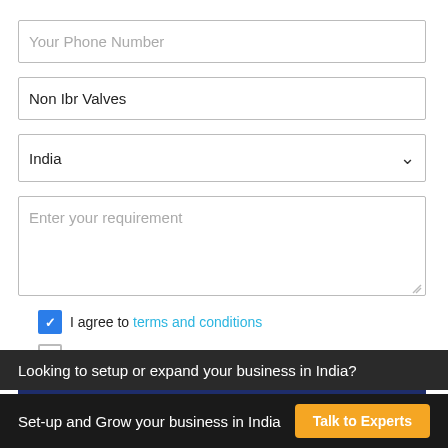Your Phone Number
Non Ibr Valves
India
Enter your requirement
I agree to terms and conditions
I am interested in SME finance.
Submit Inquiry
Looking to setup or expand your business in India?
Set-up and Grow your business in India
Talk to Experts